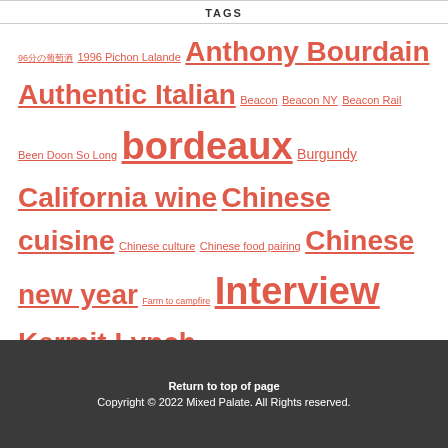TAGS
96分の葡萄酒 1996 Pichon Lalande Anthony Bourdain Authentic Italian Beacon Beacon NY Beacon Rail Been Doon So Long bordeaux Burgundy California wine Chinese cuisine Chinese culture Chinese food pairing Chinese new year Farm to campfire Interview Kermit Lynch Night Market Oyster Randall Grahm Recipe Ruben Ramiro Saccharomyces cerevisiae sake pairing Sean Thackrey sommelier Taiwan Taiwan food culture The Rhone Ranger wine wine aging wine community yeast 台湾 台湾 一つのアイデア 台湾 台湾台湾台湾 台湾 台湾 台湾 台湾 台湾台湾 台湾台湾
Return to top of page
Copyright © 2022 Mixed Palate. All Rights reserved.